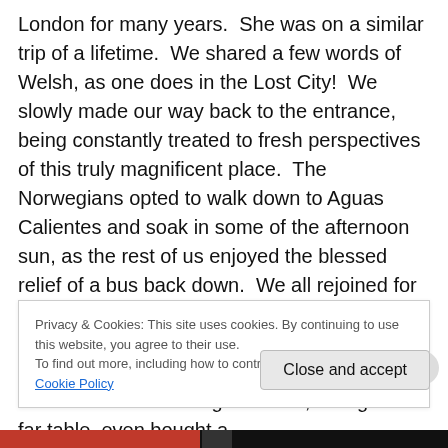London for many years.  She was on a similar trip of a lifetime.  We shared a few words of Welsh, as one does in the Lost City!  We slowly made our way back to the entrance, being constantly treated to fresh perspectives of this truly magnificent place.  The Norwegians opted to walk down to Aguas Calientes and soak in some of the afternoon sun, as the rest of us enjoyed the blessed relief of a bus back down.  We all rejoined for a celebratory meal and relaxed with some beers for the rest of the afternoon.  Lots of happy chatter filled a previously empty restaurant and a kind gentlemen, sitting on a far table, even bought a
Privacy & Cookies: This site uses cookies. By continuing to use this website, you agree to their use.
To find out more, including how to control cookies, see here: Cookie Policy
Close and accept